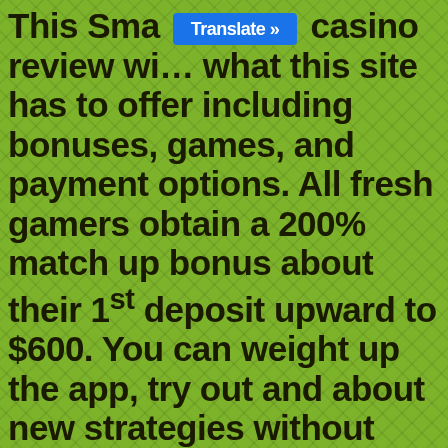This Sma [Translate »] casino review wi... what this site has to offer including bonuses, games, and payment options. All fresh gamers obtain a 200% match up bonus about their 1st deposit upward to $600. You can weight up the app, try out and about new strategies without risking any money, and then, as soon as it is had by you figured out you might shed some income and have running for great. For Cell phone The Three Ds Of CES TV, Alabama casinos, the closest gambling house would be Wind Creek